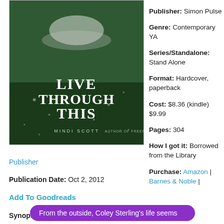[Figure (illustration): Book cover of 'Live Through This' by Mindi Scott, author of Freefall. Dark green background with a figure in white, title text in large serif font.]
Publisher: Simon Pulse
Genre: Contemporary YA
Series/Standalone: Stand Alone
Format: Hardcover, paperback
Cost: $8.36 (kindle) $9.99
Pages: 304
How I got it: Borrowed from the Library
Purchase: Amazon | Barnes & Noble |
Publisher
Publication Date: Oct 2, 2012
Add To Goodreads
Synopsis:
From the outside, Coley Sterling's life seems